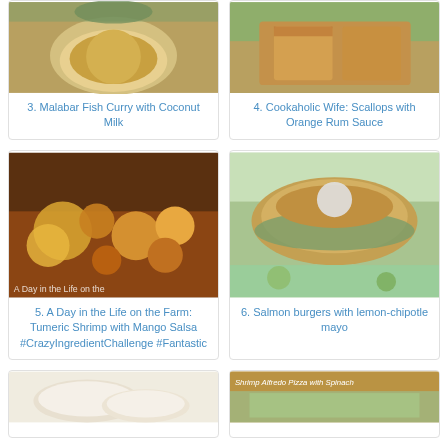[Figure (photo): Bowl of Malabar Fish Curry with Coconut Milk, yellow curry in a white bowl]
3. Malabar Fish Curry with Coconut Milk
[Figure (photo): Cookaholic Wife Scallops with Orange Rum Sauce, golden scallops on plate]
4. Cookaholic Wife: Scallops with Orange Rum Sauce
[Figure (photo): Turmeric shrimp with mango salsa on tray, A Day in the Life on the Farm]
5. A Day in the Life on the Farm: Tumeric Shrimp with Mango Salsa #CrazyIngredientChallenge #Fantastic
[Figure (photo): Salmon burger with lemon-chipotle mayo, burger with lettuce and tomato on bun]
6. Salmon burgers with lemon-chipotle mayo
[Figure (photo): Pita bread or flatbread, white dough]
[Figure (photo): Shrimp Alfredo Pizza with Spinach]